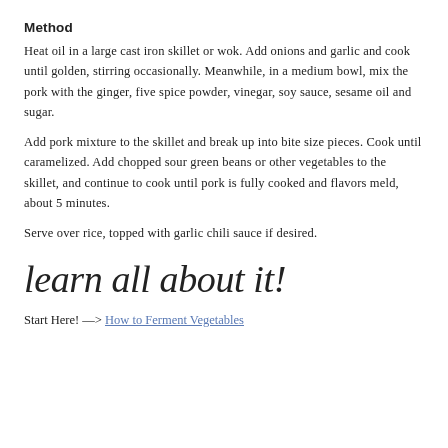Method
Heat oil in a large cast iron skillet or wok. Add onions and garlic and cook until golden, stirring occasionally. Meanwhile, in a medium bowl, mix the pork with the ginger, five spice powder, vinegar, soy sauce, sesame oil and sugar.
Add pork mixture to the skillet and break up into bite size pieces. Cook until caramelized. Add chopped sour green beans or other vegetables to the skillet, and continue to cook until pork is fully cooked and flavors meld, about 5 minutes.
Serve over rice, topped with garlic chili sauce if desired.
learn all about it!
Start Here! —> How to Ferment Vegetables